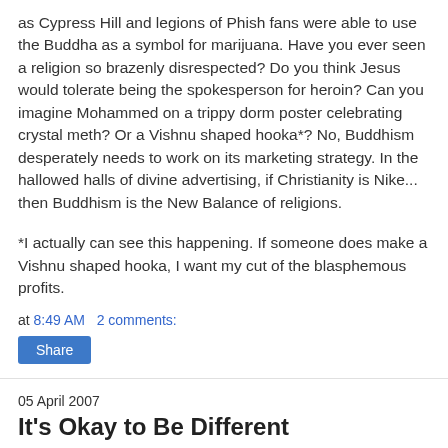as Cypress Hill and legions of Phish fans were able to use the Buddha as a symbol for marijuana. Have you ever seen a religion so brazenly disrespected? Do you think Jesus would tolerate being the spokesperson for heroin? Can you imagine Mohammed on a trippy dorm poster celebrating crystal meth? Or a Vishnu shaped hooka*? No, Buddhism desperately needs to work on its marketing strategy. In the hallowed halls of divine advertising, if Christianity is Nike... then Buddhism is the New Balance of religions.
*I actually can see this happening. If someone does make a Vishnu shaped hooka, I want my cut of the blasphemous profits.
at 8:49 AM   2 comments:
Share
05 April 2007
It's Okay to Be Different
[Figure (other): Colorful horizontal bar with multiple colored segments (red, green, blue, yellow, etc.)]